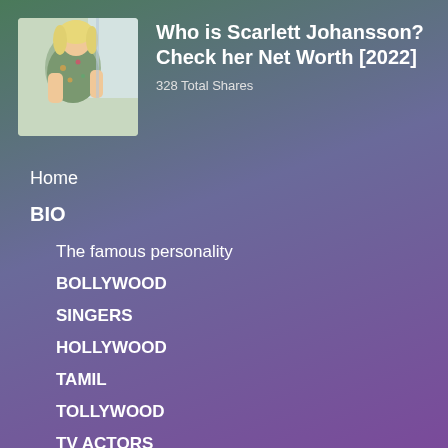[Figure (photo): Photo of Scarlett Johansson in a floral dress]
Who is Scarlett Johansson? Check her Net Worth [2022]
328 Total Shares
Home
BIO
The famous personality
BOLLYWOOD
SINGERS
HOLLYWOOD
TAMIL
TOLLYWOOD
TV ACTORS
TURKISH